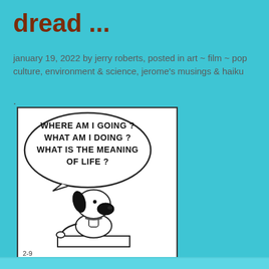dread ...
january 19, 2022 by jerry roberts, posted in art ~ film ~ pop culture, environment & science, jerome's musings & haiku
.
[Figure (illustration): Peanuts comic strip panel showing Snoopy sitting on his doghouse with a thought bubble reading: WHERE AM I GOING? WHAT AM I DOING? WHAT IS THE MEANING OF LIFE? Date mark 2-9 in bottom left corner.]